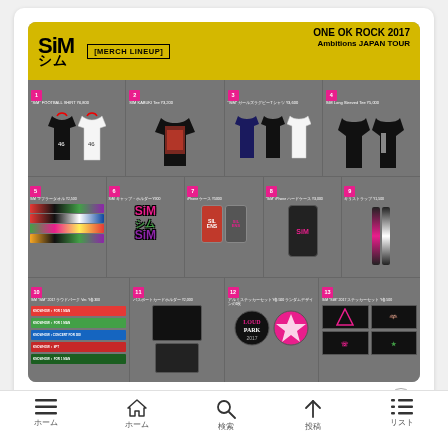[Figure (photo): SiM merch lineup flyer for ONE OK ROCK 2017 Ambitions Japan Tour, showing 13 numbered merchandise items including t-shirts, accessories, phone cases, sticker sets on a gray background with yellow header]
午前3:28 · 2017年2月21日
1,689  返信  コピーリンク
3件のリプライ
ホーム  ホーム  検索  上  リスト